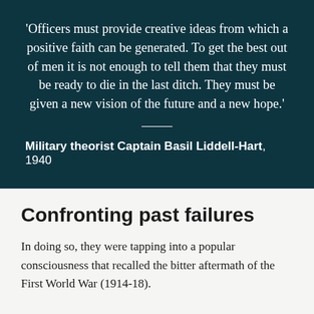'Officers must provide creative ideas from which a positive faith can be generated. To get the best out of men it is not enough to tell them that they must be ready to die in the last ditch. They must be given a new vision of the future and a new hope.'
Military theorist Captain Basil Liddell-Hart, 1940
Confronting past failures
In doing so, they were tapping into a popular consciousness that recalled the bitter aftermath of the First World War (1914-18).